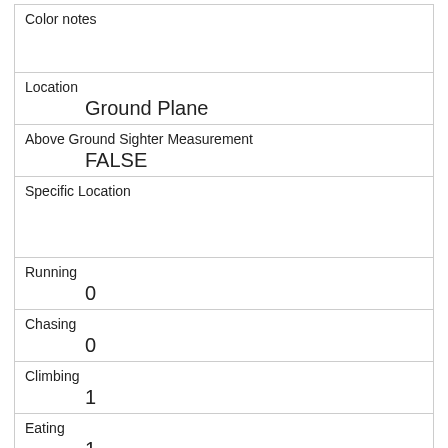| Color notes |  |
| Location | Ground Plane |
| Above Ground Sighter Measurement | FALSE |
| Specific Location |  |
| Running | 0 |
| Chasing | 0 |
| Climbing | 1 |
| Eating | 1 |
| Foraging | 1 |
| Other Activities |  |